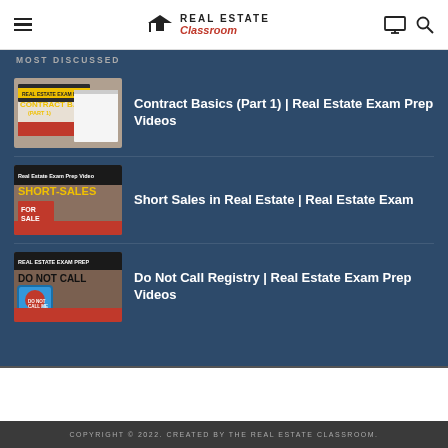Real Estate Classroom
MOST DISCUSSED
[Figure (photo): Thumbnail for Contract Basics (Part 1) Real Estate Exam Prep video showing book covers with yellow label]
Contract Basics (Part 1) | Real Estate Exam Prep Videos
[Figure (photo): Thumbnail for Short Sales in Real Estate video showing FOR SALE sign and short-sales banner]
Short Sales in Real Estate | Real Estate Exam
[Figure (photo): Thumbnail for Do Not Call Registry video showing do not call sign with red circle]
Do Not Call Registry | Real Estate Exam Prep Videos
COPYRIGHT © 2022. CREATED BY THE REAL ESTATE CLASSROOM.